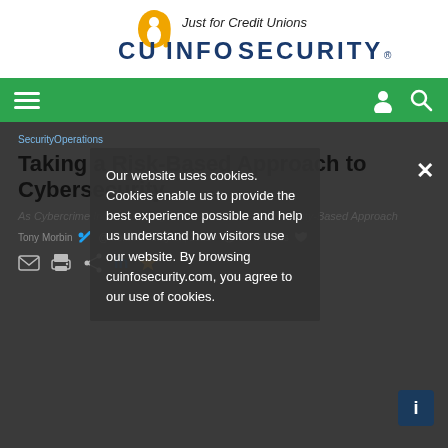[Figure (logo): CU Info Security logo - 'Just for Credit Unions' text above stylized 'i' letter with 'CU INFO SECURITY' text in blue]
[Figure (screenshot): Green navigation bar with hamburger menu icon on left and user/search icons on right]
Our website uses cookies. Cookies enable us to provide the best experience possible and help us understand how visitors use our website. By browsing cuinfosecurity.com, you agree to our use of cookies.
SecurityOperations
Taking a Risk-Based Approach to Cybersecurity
As Cybercrime Increases, Organizations Pivot From Maturity-Based Approach
Tony Morbin • @morbim • May 17, 2022 • 15 Minutes